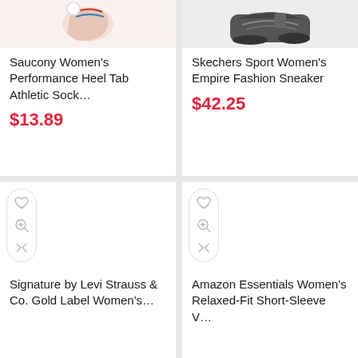[Figure (photo): Saucony Women's Performance Heel Tab Athletic Sock product image (cropped)]
Saucony Women's Performance Heel Tab Athletic Sock…
$13.89
[Figure (photo): Skechers Sport Women's Empire Fashion Sneaker product image (cropped)]
Skechers Sport Women's Empire Fashion Sneaker
$42.25
[Figure (screenshot): Product card for Signature by Levi Strauss & Co. Gold Label Women's… with action icons (heart, zoom, compare)]
Signature by Levi Strauss & Co. Gold Label Women's…
[Figure (screenshot): Product card for Amazon Essentials Women's Relaxed-Fit Short-Sleeve V… with action icons (heart, zoom, compare)]
Amazon Essentials Women's Relaxed-Fit Short-Sleeve V…